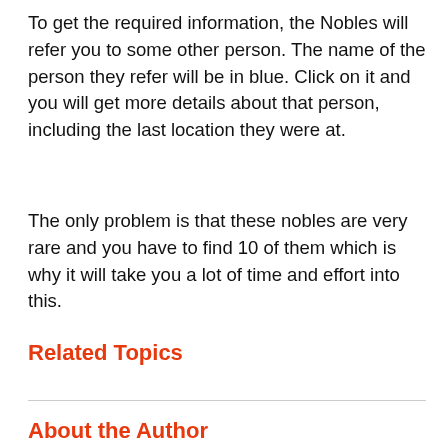To get the required information, the Nobles will refer you to some other person. The name of the person they refer will be in blue. Click on it and you will get more details about that person, including the last location they were at.
The only problem is that these nobles are very rare and you have to find 10 of them which is why it will take you a lot of time and effort into this.
Related Topics
About the Author